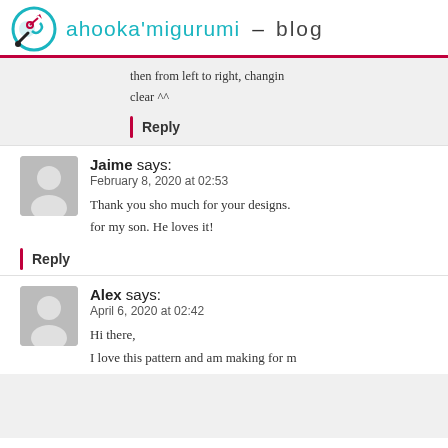ahooka'migurumi – blog
then from left to right, changin clear ^^
Reply
Jaime says:
February 8, 2020 at 02:53
Thank you sho much for your designs. for my son. He loves it!
Reply
Alex says:
April 6, 2020 at 02:42
Hi there,
I love this pattern and am making for m